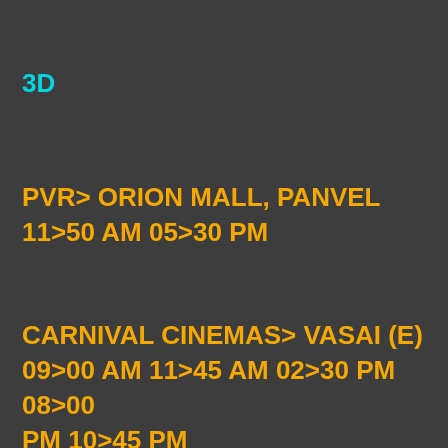3D
PVR> ORION MALL, PANVEL
11>50 AM 05>30 PM
CARNIVAL CINEMAS> VASAI (E)
09>00 AM 11>45 AM 02>30 PM 08>00 PM 10>45 PM